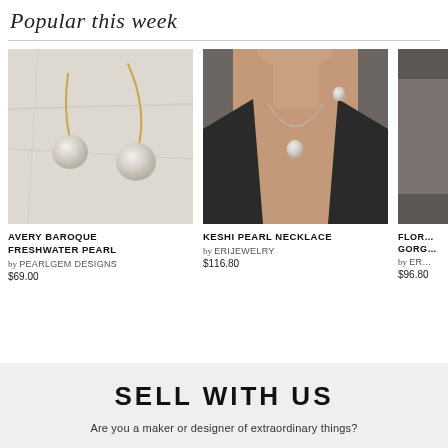Popular this week
[Figure (photo): Pearl drop earrings on gold wire hooks on a marble surface]
AVERY BAROQUE FRESHWATER PEARL
by PearlGem Designs
$69.00
[Figure (photo): Woman wearing pearl necklace and pearl earrings in a black blazer]
KESHI PEARL NECKLACE
by ERIJEWELRY
$116.80
[Figure (photo): Partially visible third product image]
FLOR… GORG…
by ER…
$96.80
SELL WITH US
Are you a maker or designer of extraordinary things?